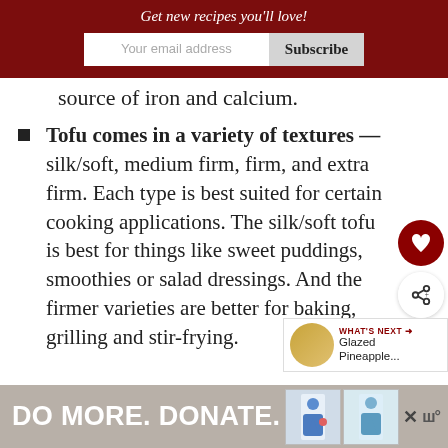Get new recipes you'll love!
source of iron and calcium.
Tofu comes in a variety of textures — silk/soft, medium firm, firm, and extra firm. Each type is best suited for certain cooking applications. The silk/soft tofu is best for things like sweet puddings, smoothies or salad dressings. And the firmer varieties are better for baking, grilling and stir-frying.
[Figure (other): Advertisement banner: DO MORE. DONATE. with two illustrated figures and a logo]